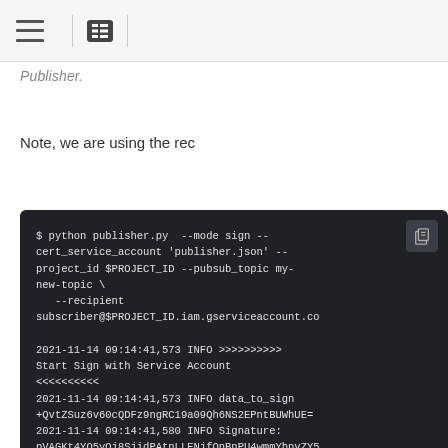Publisher
Publisher.
Note, we are using the rec
$ python publisher.py  --mode sign --cert_service_account 'publisher.json' --project_id $PROJECT_ID --pubsub_topic my-new-topic \
   --recipient subscriber@$PROJECT_ID.iam.gserviceaccount.co

2021-11-14 09:14:41,573 INFO >>>>>>>>>>
Start Sign with Service Account
<<<<<<<<<<
2021-11-14 09:14:41,573 INFO data_to_sign
+QvtZSuz6v60cQDFz9ngRC19a09Qh6NS2EPntBUWhUE=
2021-11-14 09:14:41,580 INFO Signature:
pVAGKt4YO5yOj8SjidPAtnLLENjfOnBnPU4wmmYbnvZY5
2021-11-14 09:14:41,580 INFO key_id
0e447c01d19c8288743ec73edee55b137891a43c
2021-11-14 09:14:41,580 INFO